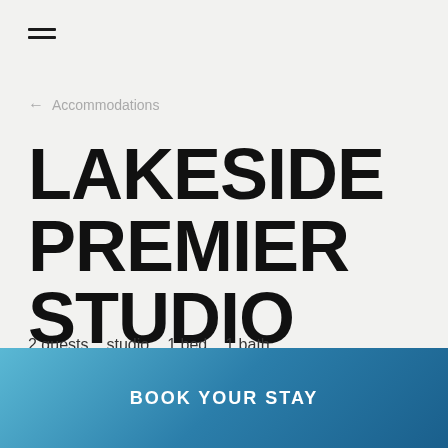≡
← Accommodations
LAKESIDE PREMIER STUDIO
2 guests   studio   1 bed   1 bath
BOOK YOUR STAY